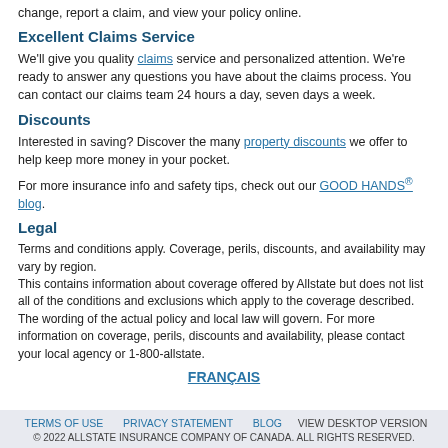change, report a claim, and view your policy online.
Excellent Claims Service
We'll give you quality claims service and personalized attention. We're ready to answer any questions you have about the claims process. You can contact our claims team 24 hours a day, seven days a week.
Discounts
Interested in saving? Discover the many property discounts we offer to help keep more money in your pocket.
For more insurance info and safety tips, check out our GOOD HANDS® blog.
Legal
Terms and conditions apply. Coverage, perils, discounts, and availability may vary by region.
This contains information about coverage offered by Allstate but does not list all of the conditions and exclusions which apply to the coverage described. The wording of the actual policy and local law will govern. For more information on coverage, perils, discounts and availability, please contact your local agency or 1-800-allstate.
FRANÇAIS
TERMS OF USE   PRIVACY STATEMENT   BLOG   VIEW DESKTOP VERSION
© 2022 ALLSTATE INSURANCE COMPANY OF CANADA. ALL RIGHTS RESERVED.